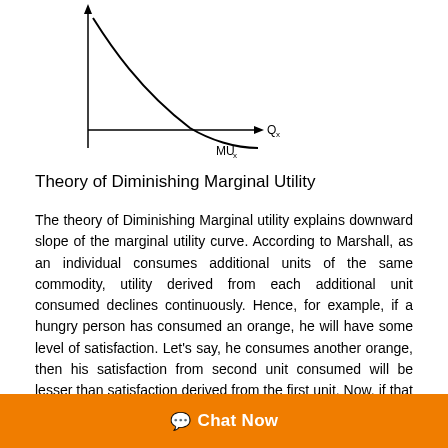[Figure (continuous-plot): Graph showing diminishing marginal utility curve. Y-axis is unlabeled (MU), X-axis labeled Qx. A downward-sloping concave curve starts high on the left and flattens to the right, crossing the x-axis and continuing slightly below. Label MUx appears below the x-axis at the right end.]
Theory of Diminishing Marginal Utility
The theory of Diminishing Marginal utility explains downward slope of the marginal utility curve. According to Marshall, as an individual consumes additional units of the same commodity, utility derived from each additional unit consumed declines continuously. Hence, for example, if a hungry person has consumed an orange, he will have some level of satisfaction. Let's say, he consumes another orange, then his satisfaction from second unit consumed will be lesser than satisfaction derived from the first unit. Now, if that person consumes a third orange, satisfaction derived from
Chat Now